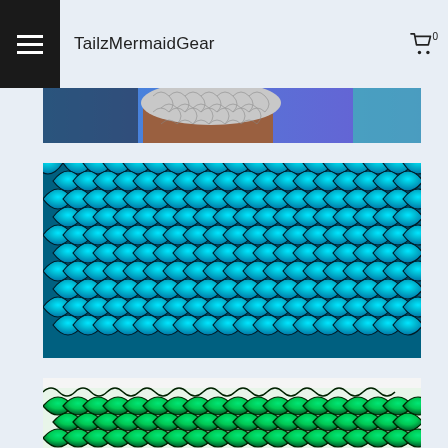TailzMermaidGear
[Figure (photo): Partial cropped image of a person wearing silver/white fish scale patterned fabric with blue background]
[Figure (photo): Close-up of shiny teal/turquoise iridescent fish scale patterned fabric with black outlines]
[Figure (photo): Partial view of green iridescent fish scale patterned fabric on white background]